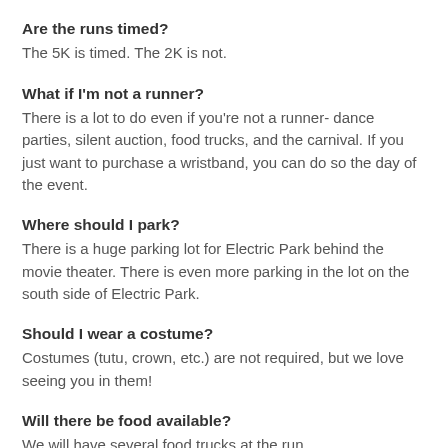Are the runs timed?
The 5K is timed. The 2K is not.
What if I'm not a runner?
There is a lot to do even if you're not a runner- dance parties, silent auction, food trucks, and the carnival. If you just want to purchase a wristband, you can do so the day of the event.
Where should I park?
There is a huge parking lot for Electric Park behind the movie theater. There is even more parking in the lot on the south side of Electric Park.
Should I wear a costume?
Costumes (tutu, crown, etc.) are not required, but we love seeing you in them!
Will there be food available?
We will have several food trucks at the run.
Utah Taiyaki